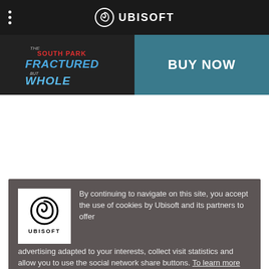UBISOFT
[Figure (screenshot): South Park: The Fractured But Whole game logo on dark background]
[Figure (screenshot): BUY NOW button on teal background]
By continuing to navigate on this site, you accept the use of cookies by Ubisoft and its partners to offer advertising adapted to your interests, collect visit statistics and allow you to use the social network share buttons. To learn more and set your cookies.
[Figure (logo): Ubisoft logo with spiral icon and UBISOFT text]